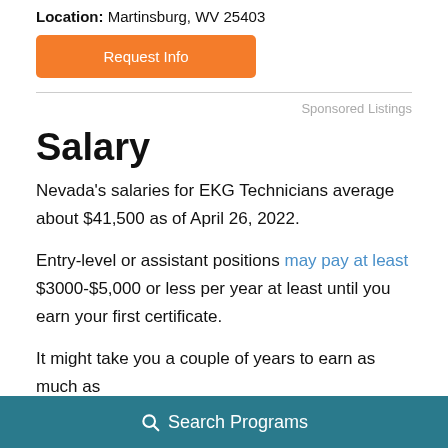Location: Martinsburg, WV 25403
Request Info
Sponsored Listings
Salary
Nevada's salaries for EKG Technicians average about $41,500 as of April 26, 2022.
Entry-level or assistant positions may pay at least $3000-$5,000 or less per year at least until you earn your first certificate.
It might take you a couple of years to earn as much as
Search Programs